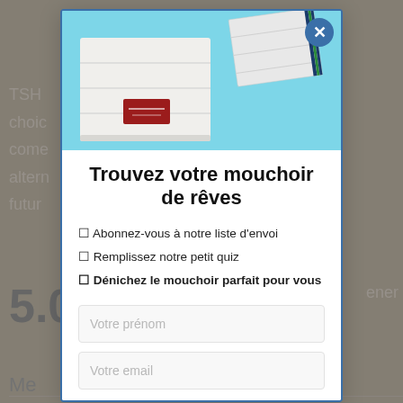[Figure (screenshot): Background webpage content partially visible behind modal overlay, showing text fragments 'TSHI', 'choic', 'come', 'altern', 'futur', '5.0', 'Me', 'Hom', and 'ener']
[Figure (photo): Product photo showing white folded handkerchiefs on a light blue background. One handkerchief has a red label/tag. Another handkerchief is visible in the background with green and blue stripes.]
Trouvez votre mouchoir de rêves
✓ Abonnez-vous à notre liste d'envoi
✓ Remplissez notre petit quiz
✓ Dénichez le mouchoir parfait pour vous
Votre prénom
Votre email